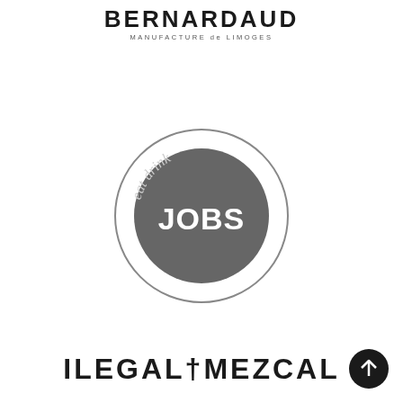[Figure (logo): Bernardaud Manufacture de Limoges logo — bold uppercase serif/sans brand name with subtitle]
[Figure (logo): Eat Drink Jobs circular logo — grey circle with JOBS text in center and 'eat drink' text arcing around top]
[Figure (logo): Ilegal Mezcal logo — bold uppercase sans-serif text with a cross/dagger symbol between ILEGAL and MEZCAL]